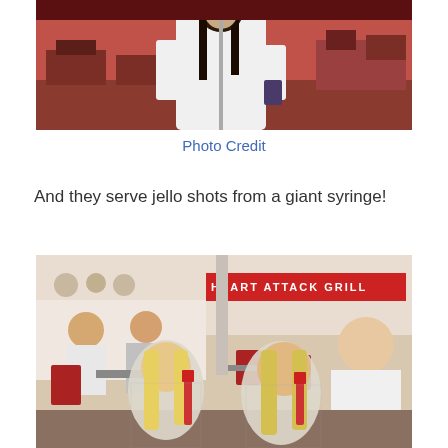[Figure (photo): Woman in white top holding a drink at the Heart Attack Grill restaurant, standing in front of a microphone stand, red chairs and restaurant decor in background.]
Photo Credit
And they serve jello shots from a giant syringe!
[Figure (photo): Two blonde women in hospital gowns using giant syringes to drink jello shots at the Heart Attack Grill restaurant, with other diners seated in the background and Heart Attack Grill signage visible.]